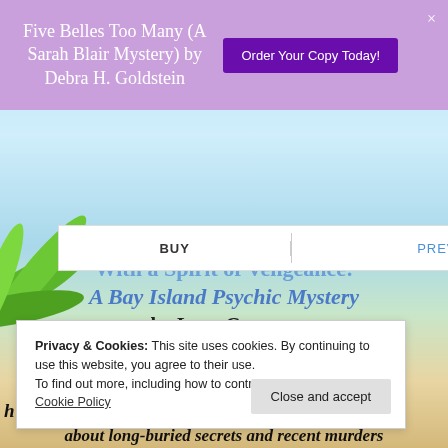Five Belles Too Many (A Sarah Blair Mystery) by Debra H. Goldstein
Order Your Copy Today!
BUY
PREVIEW
With a Spirit of Vengeance: A Bay Island Psychic Mystery by Lena Gregory
Paranormal Cozy Mystery
7th in Series
Privacy & Cookies: This site uses cookies. By continuing to use this website, you agree to their use.
To find out more, including how to control cookies, see here: Cookie Policy
Close and accept
about long-buried secrets and recent murders